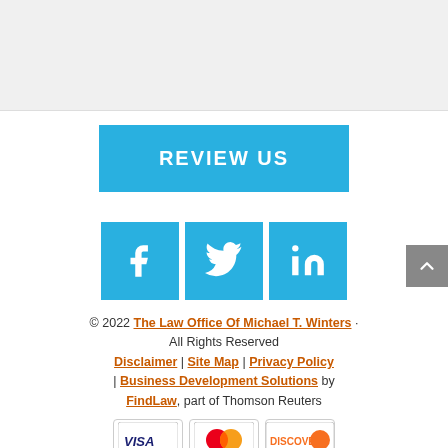[Figure (screenshot): Grey/white top area placeholder — partial page content above]
REVIEW US
[Figure (infographic): Three social media icons: Facebook (f), Twitter (bird), LinkedIn (in) — all in sky-blue square buttons]
© 2022 The Law Office Of Michael T. Winters · All Rights Reserved
Disclaimer | Site Map | Privacy Policy | Business Development Solutions by FindLaw, part of Thomson Reuters
[Figure (other): Payment method icons: VISA, Mastercard, Discover]